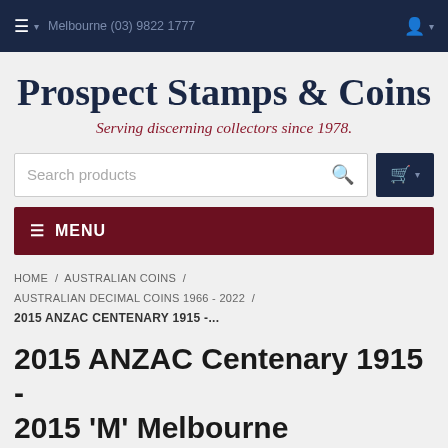≡ ▾  Melbourne (03) 9822 1777  🔍  👤 ▾
Prospect Stamps & Coins
Serving discerning collectors since 1978.
Search products
≡ MENU
HOME / AUSTRALIAN COINS / AUSTRALIAN DECIMAL COINS 1966 - 2022 / 2015 ANZAC CENTENARY 1915 -...
2015 ANZAC Centenary 1915 - 2015 'M' Melbourne